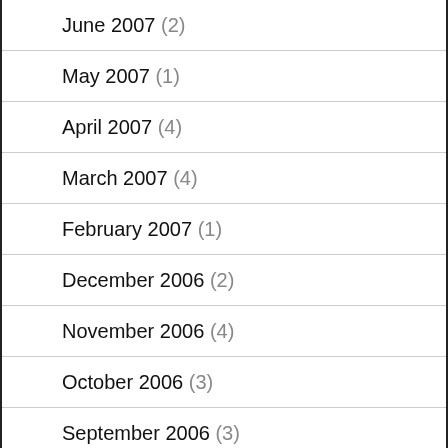June 2007 (2)
May 2007 (1)
April 2007 (4)
March 2007 (4)
February 2007 (1)
December 2006 (2)
November 2006 (4)
October 2006 (3)
September 2006 (3)
August 2006 (3)